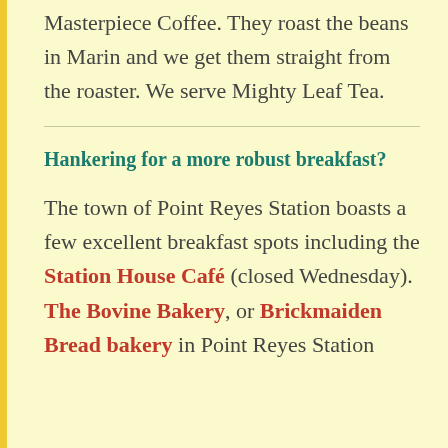Masterpiece Coffee. They roast the beans in Marin and we get them straight from the roaster. We serve Mighty Leaf Tea.
Hankering for a more robust breakfast?
The town of Point Reyes Station boasts a few excellent breakfast spots including the Station House Café (closed Wednesday). The Bovine Bakery, or Brickmaiden Bread bakery in Point Reyes Station...